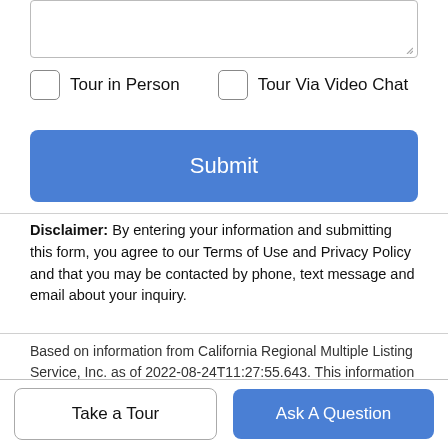Tour in Person
Tour Via Video Chat
Submit
Disclaimer: By entering your information and submitting this form, you agree to our Terms of Use and Privacy Policy and that you may be contacted by phone, text message and email about your inquiry.
Based on information from California Regional Multiple Listing Service, Inc. as of 2022-08-24T11:27:55.643. This information is for your personal, non-commercial use and may not be used for any purpose other than to identify prospective properties you may be interested in purchasing. Display of MLS data is deemed reliable but is not guaranteed accurate by the MLS or First Team Real Estate. Licensed in the State of California, USA.
Take a Tour
Ask A Question